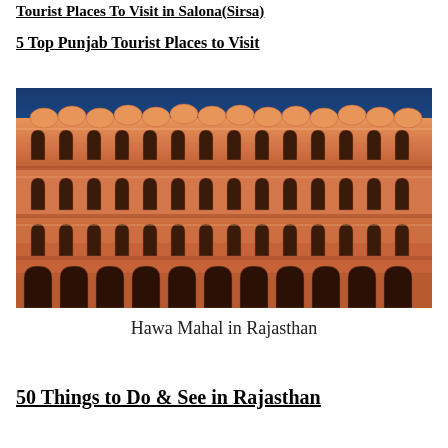Tourist Places To Visit in Salona(Sirsa)
5 Top Punjab Tourist Places to Visit
[Figure (photo): Hawa Mahal in Rajasthan — a large ornate pink sandstone palace facade with multiple arched windows and honeycomb latticework, photographed against a vivid deep blue sky.]
Hawa Mahal in Rajasthan
50 Things to Do & See in Rajasthan